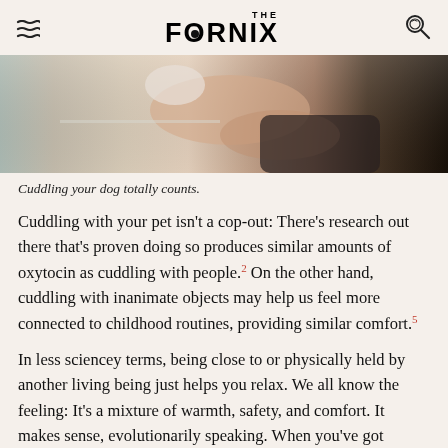THE FORNIX
[Figure (photo): Close-up photo of a person holding a dog, showing the person's arm and shoulder in a black top cuddling with what appears to be a white dog]
Cuddling your dog totally counts.
Cuddling with your pet isn't a cop-out: There's research out there that's proven doing so produces similar amounts of oxytocin as cuddling with people.² On the other hand, cuddling with inanimate objects may help us feel more connected to childhood routines, providing similar comfort.⁵
In less sciencey terms, being close to or physically held by another living being just helps you relax. We all know the feeling: It's a mixture of warmth, safety, and comfort. It makes sense, evolutionarily speaking. When you've got someone physically wrapped around you, you're a bit